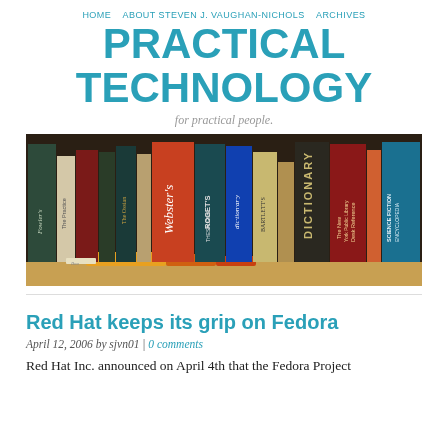HOME   ABOUT STEVEN J. VAUGHAN-NICHOLS   ARCHIVES
PRACTICAL TECHNOLOGY
for practical people.
[Figure (photo): A row of reference books on a shelf including Fowler's, Webster's, Roget's Thesaurus, a dictionary, Bartlett's, The New York Public Library Desk Reference, and a Science Fiction Encyclopedia.]
Red Hat keeps its grip on Fedora
April 12, 2006 by sjvn01 | 0 comments
Red Hat Inc. announced on April 4th that the Fedora Project